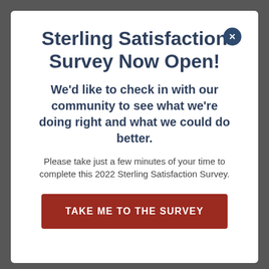Sterling Satisfaction Survey Now Open!
We'd like to check in with our community to see what we're doing right and what we could do better.
Please take just a few minutes of your time to complete this 2022 Sterling Satisfaction Survey.
TAKE ME TO THE SURVEY